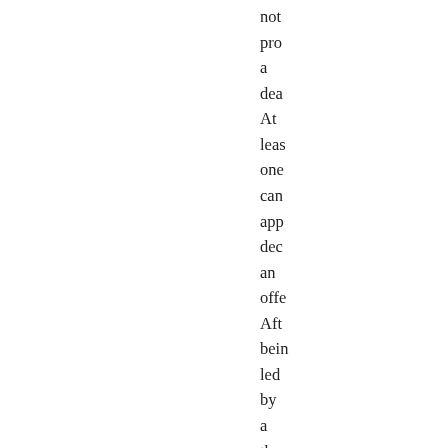not pro a dea At leas one can app dec an offe Aft bein led by a thre per team for the last